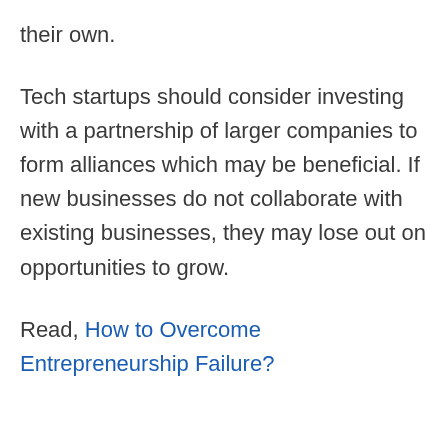their own.
Tech startups should consider investing with a partnership of larger companies to form alliances which may be beneficial. If new businesses do not collaborate with existing businesses, they may lose out on opportunities to grow.
Read, How to Overcome Entrepreneurship Failure?